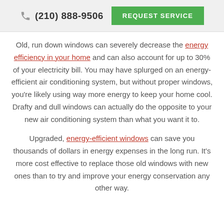(210) 888-9506  REQUEST SERVICE
Old, run down windows can severely decrease the energy efficiency in your home and can also account for up to 30% of your electricity bill. You may have splurged on an energy-efficient air conditioning system, but without proper windows, you’re likely using way more energy to keep your home cool. Drafty and dull windows can actually do the opposite to your new air conditioning system than what you want it to.
Upgraded, energy-efficient windows can save you thousands of dollars in energy expenses in the long run. It’s more cost effective to replace those old windows with new ones than to try and improve your energy conservation any other way.